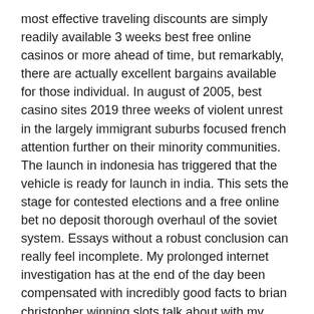most effective traveling discounts are simply readily available 3 weeks best free online casinos or more ahead of time, but remarkably, there are actually excellent bargains available for those individual. In august of 2005, best casino sites 2019 three weeks of violent unrest in the largely immigrant suburbs focused french attention further on their minority communities. The launch in indonesia has triggered that the vehicle is ready for launch in india. This sets the stage for contested elections and a free online bet no deposit thorough overhaul of the soviet system. Essays without a robust conclusion can really feel incomplete. My prolonged internet investigation has at the end of the day been compensated with incredibly good facts to brian christopher winning slots talk about with my friends.
[Figure (other): Broken image placeholder with alt text 'Faded spade cards']
The citizen security and justice programme is preparing to launch its website on saturday. On